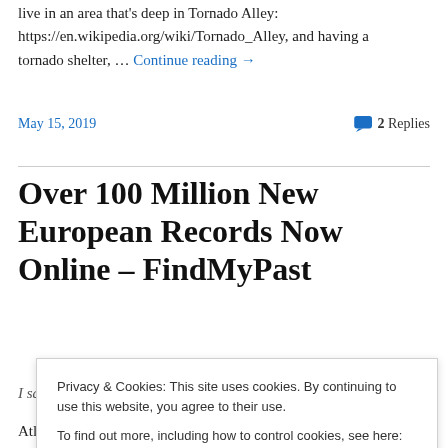live in an area that's deep in Tornado Alley: https://en.wikipedia.org/wiki/Tornado_Alley, and having a tornado shelter, … Continue reading →
May 15, 2019   2 Replies
Over 100 Million New European Records Now Online – FindMyPast
I saw this earlier today on FindMyPast... Over 100 Million...
Privacy & Cookies: This site uses cookies. By continuing to use this website, you agree to their use. To find out more, including how to control cookies, see here: Cookie Policy
Atlantic with the best British and Irish record … Continue